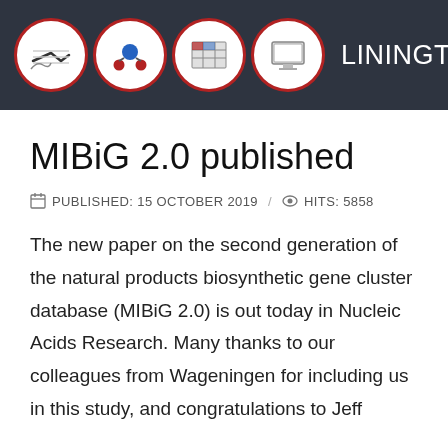LININGTONLAB
MIBiG 2.0 published
PUBLISHED: 15 OCTOBER 2019 / HITS: 5858
The new paper on the second generation of the natural products biosynthetic gene cluster database (MIBiG 2.0) is out today in Nucleic Acids Research. Many thanks to our colleagues from Wageningen for including us in this study, and congratulations to Jeff